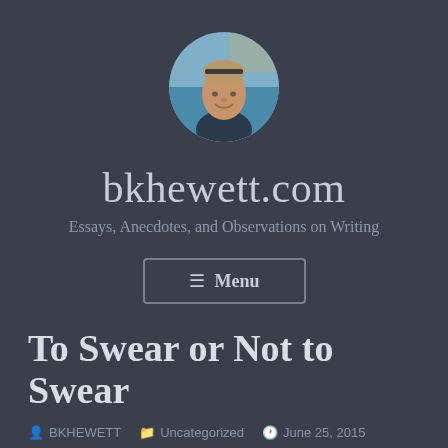[Figure (photo): Circular avatar photo of a man smiling, outdoors near water, wearing a dark jacket, with sunglasses on his head]
bkhewett.com
Essays, Anecdotes, and Observations on Writing
≡ Menu
To Swear or Not to Swear
BKHEWETT  Uncategorized  June 25, 2015